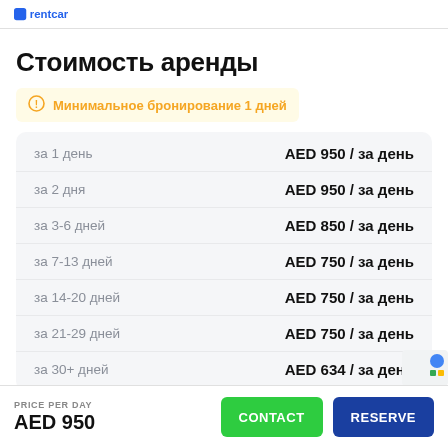Стоимость аренды
Минимальное бронирование 1 дней
| Период | Цена |
| --- | --- |
| за 1 день | AED 950 / за день |
| за 2 дня | AED 950 / за день |
| за 3-6 дней | AED 850 / за день |
| за 7-13 дней | AED 750 / за день |
| за 14-20 дней | AED 750 / за день |
| за 21-29 дней | AED 750 / за день |
| за 30+ дней | AED 634 / за день |
PRICE PER DAY AED 950 | CONTACT | RESERVE